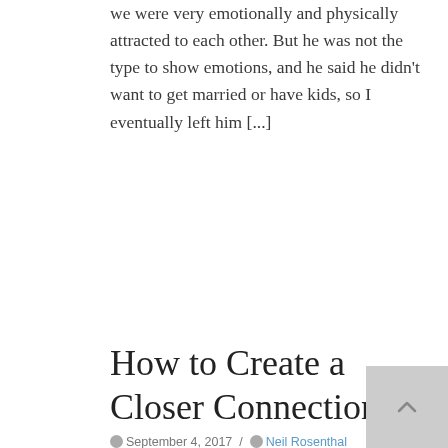we were very emotionally and physically attracted to each other. But he was not the type to show emotions, and he said he didn't want to get married or have kids, so I eventually left him [...]
READ MORE
How to Create a Closer Connection
September 4, 2017 / Neil Rosenthal / Improving Your Relationship, How To Deepen A Relationship / No Comments